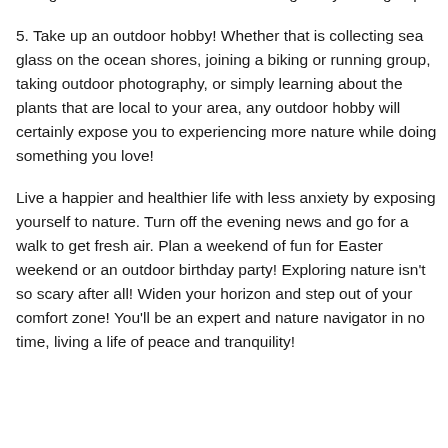background. Nature is beautiful and is right at your fingertips!
5. Take up an outdoor hobby! Whether that is collecting sea glass on the ocean shores, joining a biking or running group, taking outdoor photography, or simply learning about the plants that are local to your area, any outdoor hobby will certainly expose you to experiencing more nature while doing something you love!
Live a happier and healthier life with less anxiety by exposing yourself to nature. Turn off the evening news and go for a walk to get fresh air. Plan a weekend of fun for Easter weekend or an outdoor birthday party! Exploring nature isn't so scary after all! Widen your horizon and step out of your comfort zone! You'll be an expert and nature navigator in no time, living a life of peace and tranquility!